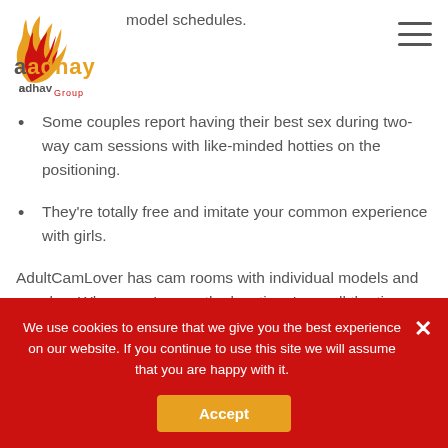Aadhav Group logo and navigation
model schedules.
Some couples report having their best sex during two-way cam sessions with like-minded hotties on the positioning.
They're totally free and imitate your common experience with girls.
AdultCamLover has cam rooms with individual models and couples. Whenever I go on the location, I can all the time find a girl that i'm into. The high-rated cam girls might be displayed by
We use cookies to ensure that we give you the best experience on our website. If you continue to use this site we will assume that you are happy with it.